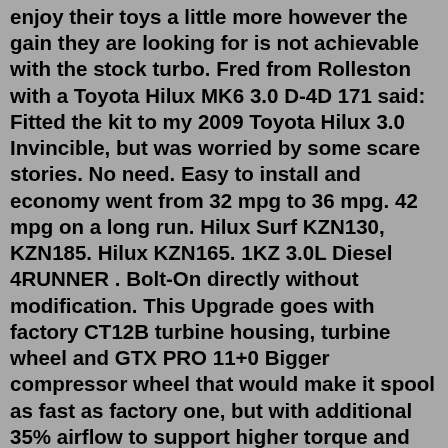enjoy their toys a little more however the gain they are looking for is not achievable with the stock turbo. Fred from Rolleston with a Toyota Hilux MK6 3.0 D-4D 171 said: Fitted the kit to my 2009 Toyota Hilux 3.0 Invincible, but was worried by some scare stories. No need. Easy to install and economy went from 32 mpg to 36 mpg. 42 mpg on a long run. Hilux Surf KZN130, KZN185. Hilux KZN165. 1KZ 3.0L Diesel 4RUNNER . Bolt-On directly without modification. This Upgrade goes with factory CT12B turbine housing, turbine wheel and GTX PRO 11+0 Bigger compressor wheel that would make it spool as fast as factory one, but with additional 35% airflow to support higher torque and HP to red line. Spec Most aftermarket Toyota Hilux exhausts are for the different diesel engines (standard or with a turbo), but you'll still find those that fit the 2.4 and 2.7-litre petrols in the Hilux Workmate, as well as older petrol variants. For the current 2.8 litre turbo, there are DPF-back exhausts that bring mild power gains.Turbocharger Information: This turbocharger